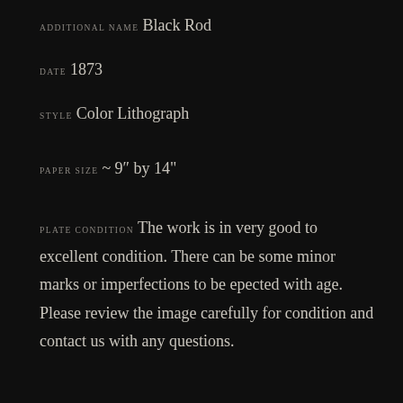ADDITIONAL NAME Black Rod
DATE 1873
STYLE Color Lithograph
PAPER SIZE ~ 9″ by 14″
PLATE CONDITION The work is in very good to excellent condition. There can be some minor marks or imperfections to be epected with age. Please review the image carefully for condition and contact us with any questions.